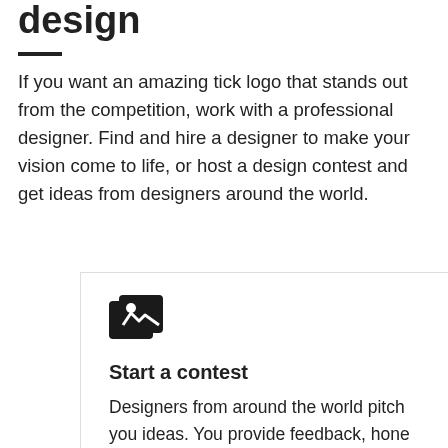design
If you want an amazing tick logo that stands out from the competition, work with a professional designer. Find and hire a designer to make your vision come to life, or host a design contest and get ideas from designers around the world.
Start a contest
Designers from around the world pitch you ideas. You provide feedback, hone your favorites and choose a winner.